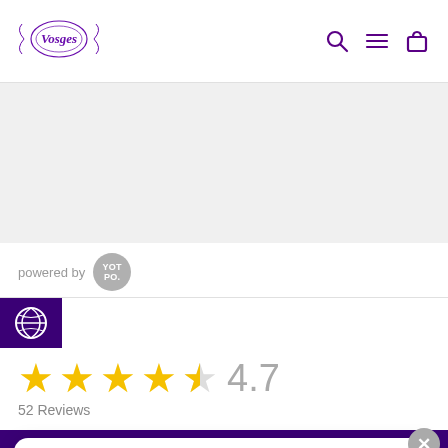[Figure (logo): Vosges Haut-Chocolat logo in purple, ornate oval design]
[Figure (screenshot): Navigation icons: search (magnifying glass), hamburger menu, shopping bag — all in purple]
[Figure (screenshot): Gray band content area (product image area, blank)]
powered by
[Figure (logo): YOT PO. circular gray badge logo]
[Figure (screenshot): Support/help icon (soccer ball or help icon) on dark purple background]
[Figure (infographic): 4.5 out of 5 stars rating display (4 full stars, 1 half star) showing 4.7, 52 Reviews]
4.7
52 Reviews
Vosges Haut-Chocolat
Download & Save 20%
GET